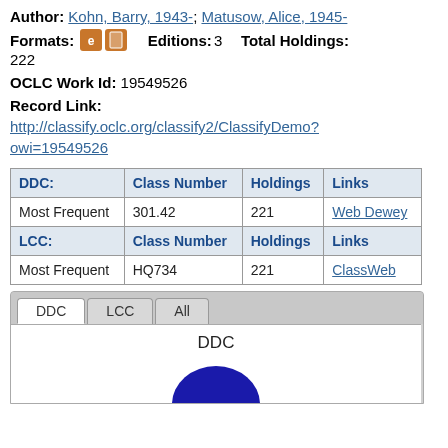Author: Kohn, Barry, 1943-; Matusow, Alice, 1945-
Formats: [icons] Editions: 3 Total Holdings: 222
OCLC Work Id: 19549526
Record Link:
http://classify.oclc.org/classify2/ClassifyDemo?owi=19549526
| DDC: | Class Number | Holdings | Links |
| --- | --- | --- | --- |
| Most Frequent | 301.42 | 221 | Web Dewey |
| LCC: | Class Number | Holdings | Links |
| Most Frequent | HQ734 | 221 | ClassWeb |
DDC | LCC | All
DDC